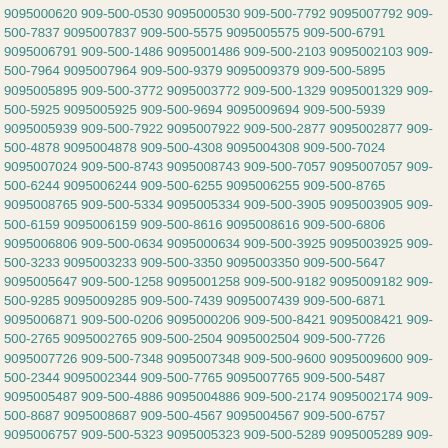9095000620 909-500-0530 9095000530 909-500-7792 9095007792 909-500-7837 9095007837 909-500-5575 9095005575 909-500-6791 9095006791 909-500-1486 9095001486 909-500-2103 9095002103 909-500-7964 9095007964 909-500-9379 9095009379 909-500-5895 9095005895 909-500-3772 9095003772 909-500-1329 9095001329 909-500-5925 9095005925 909-500-9694 9095009694 909-500-5939 9095005939 909-500-7922 9095007922 909-500-2877 9095002877 909-500-4878 9095004878 909-500-4308 9095004308 909-500-7024 9095007024 909-500-8743 9095008743 909-500-7057 9095007057 909-500-6244 9095006244 909-500-6255 9095006255 909-500-8765 9095008765 909-500-5334 9095005334 909-500-3905 9095003905 909-500-6159 9095006159 909-500-8616 9095008616 909-500-6806 9095006806 909-500-0634 9095000634 909-500-3925 9095003925 909-500-3233 9095003233 909-500-3350 9095003350 909-500-5647 9095005647 909-500-1258 9095001258 909-500-9182 9095009182 909-500-9285 9095009285 909-500-7439 9095007439 909-500-6871 9095006871 909-500-0206 9095000206 909-500-8421 9095008421 909-500-2765 9095002765 909-500-2504 9095002504 909-500-7726 9095007726 909-500-7348 9095007348 909-500-9600 9095009600 909-500-2344 9095002344 909-500-7765 9095007765 909-500-5487 9095005487 909-500-4886 9095004886 909-500-2174 9095002174 909-500-8687 9095008687 909-500-4567 9095004567 909-500-6757 9095006757 909-500-5323 9095005323 909-500-5289 9095005289 909-500-6337 9095006337 909-500-7038 9095007038 909-500-2573 9095002573 909-500-0678 9095000678 909-500-8550 9095008550 909-500-2779 9095002779 909-500-1010 9095001010 909-500-6281